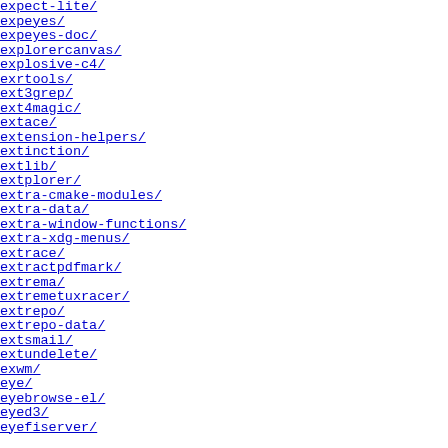expect-lite/  15-Feb
expeyes/  24-Jul
expeyes-doc/  29-Dec
explorercanvas/  15-Jan
explosive-c4/  03-Aug
exrtools/  22-Jan
ext3grep/  31-Jan
ext4magic/  03-Feb
extace/  01-Nov
extension-helpers/  24-Jul
extinction/  17-Aug
extlib/  24-Jul
extplorer/  22-Jan
extra-cmake-modules/  17-Aug
extra-data/  03-Feb
extra-window-functions/  24-Jul
extra-xdg-menus/  24-Jul
extrace/  29-Dec
extractpdfmark/  24-Jul
extrema/  01-Nov
extremetuxracer/  07-Aug
extrepo/  24-Jul
extrepo-data/  17-May
extsmail/  24-Jul
extundelete/  31-Jan
exwm/  24-Jul
eye/  24-Jul
eyebrowse-el/  26-Jan
eyed3/  04-Jun
eyefiserver/  02-Nov